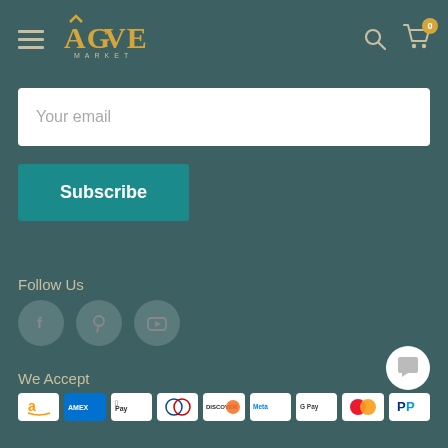Agave Market — navigation header with hamburger menu, logo, search icon, and cart (0 items)
Your email
Subscribe
Follow Us
[Figure (other): Three social media icons: Facebook, Pinterest, YouTube — circular grey buttons]
We Accept
[Figure (other): Payment method icons: Amazon, Amex, Apple Pay, Diners Club, Discover, Meta Pay, Google Pay, Mastercard, PayPal, and more]